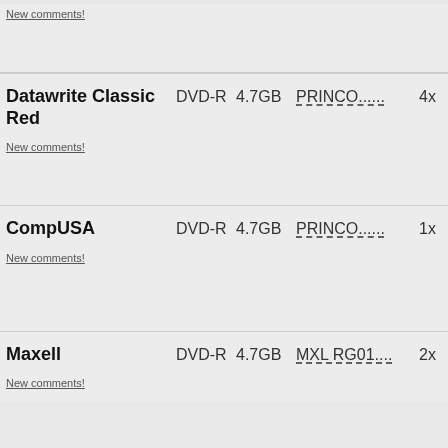New comments!
Datawrite Classic Red  DVD-R  4.7GB  PRINCO......  4x
New comments!
CompUSA  DVD-R  4.7GB  PRINCO......  1x
New comments!
Maxell  DVD-R  4.7GB  MXL RG01....  2x
New comments!